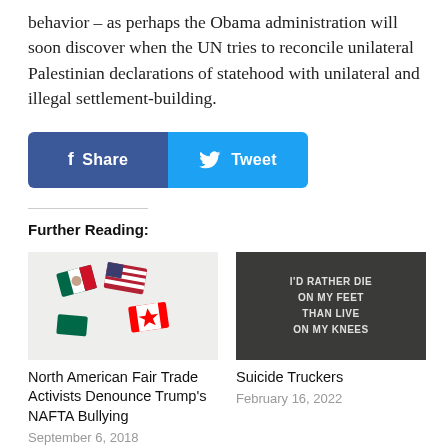behavior – as perhaps the Obama administration will soon discover when the UN tries to reconcile unilateral Palestinian declarations of statehood with unilateral and illegal settlement-building.
[Figure (other): Social share buttons: Facebook Share and Twitter Tweet]
Further Reading:
[Figure (photo): Puzzle pieces shaped as flags of Mexico, USA, and Canada]
North American Fair Trade Activists Denounce Trump's NAFTA Bullying
September 6, 2018
[Figure (photo): Truck tailgate sign reading: I'D RATHER DIE ON MY FEET THAN LIVE ON MY KNEES]
Suicide Truckers
February 16, 2022